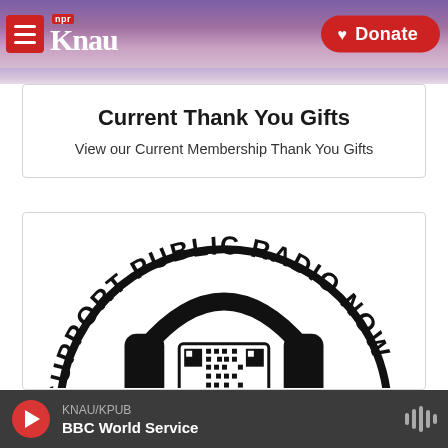KNAU NPR / Donate
Current Thank You Gifts
View our Current Membership Thank You Gifts
[Figure (logo): Circular stamp/seal with text 'SUPPORT PUBLIC RADIO NOW' around the outside and a QR code with headphones graphic in the center]
KNAU/KPUB · BBC World Service